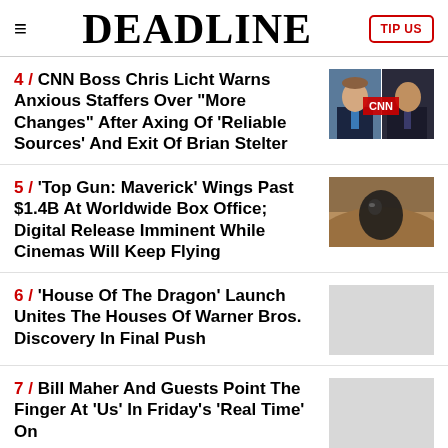DEADLINE
4 / CNN Boss Chris Licht Warns Anxious Staffers Over "More Changes" After Axing Of 'Reliable Sources' And Exit Of Brian Stelter
5 / 'Top Gun: Maverick' Wings Past $1.4B At Worldwide Box Office; Digital Release Imminent While Cinemas Will Keep Flying
6 / 'House Of The Dragon' Launch Unites The Houses Of Warner Bros. Discovery In Final Push
7 / Bill Maher And Guests Point The Finger At 'Us' In Friday's 'Real Time' On